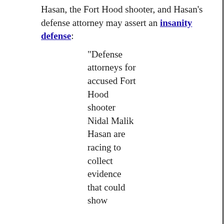Hasan, the Fort Hood shooter, and Hasan's defense attorney may assert an insanity defense:
“Defense attorneys for accused Fort Hood shooter Nidal Malik Hasan are racing to collect evidence that could show